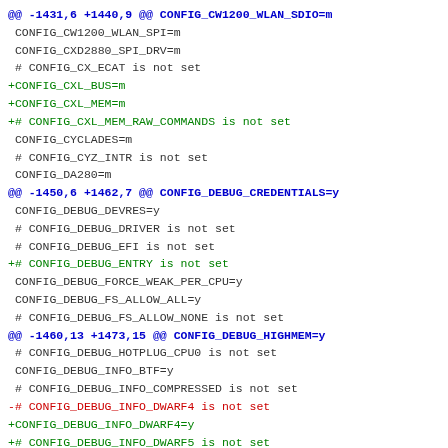@@ -1431,6 +1440,9 @@ CONFIG_CW1200_WLAN_SDIO=m
 CONFIG_CW1200_WLAN_SPI=m
 CONFIG_CXD2880_SPI_DRV=m
 # CONFIG_CX_ECAT is not set
+CONFIG_CXL_BUS=m
+CONFIG_CXL_MEM=m
+# CONFIG_CXL_MEM_RAW_COMMANDS is not set
 CONFIG_CYCLADES=m
 # CONFIG_CYZ_INTR is not set
 CONFIG_DA280=m
@@ -1450,6 +1462,7 @@ CONFIG_DEBUG_CREDENTIALS=y
 CONFIG_DEBUG_DEVRES=y
 # CONFIG_DEBUG_DRIVER is not set
 # CONFIG_DEBUG_EFI is not set
+# CONFIG_DEBUG_ENTRY is not set
 CONFIG_DEBUG_FORCE_WEAK_PER_CPU=y
 CONFIG_DEBUG_FS_ALLOW_ALL=y
 # CONFIG_DEBUG_FS_ALLOW_NONE is not set
@@ -1460,13 +1473,15 @@ CONFIG_DEBUG_HIGHMEM=y
 # CONFIG_DEBUG_HOTPLUG_CPU0 is not set
 CONFIG_DEBUG_INFO_BTF=y
 # CONFIG_DEBUG_INFO_COMPRESSED is not set
-# CONFIG_DEBUG_INFO_DWARF4 is not set
+CONFIG_DEBUG_INFO_DWARF4=y
+# CONFIG_DEBUG_INFO_DWARF5 is not set